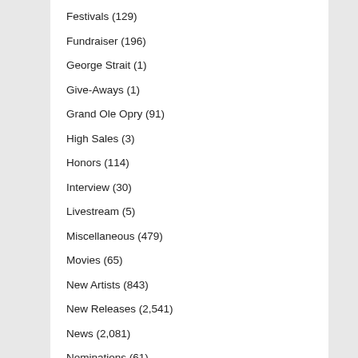Festivals (129)
Fundraiser (196)
George Strait (1)
Give-Aways (1)
Grand Ole Opry (91)
High Sales (3)
Honors (114)
Interview (30)
Livestream (5)
Miscellaneous (479)
Movies (65)
New Artists (843)
New Releases (2,541)
News (2,081)
Nominations (61)
NRA Country (10)
Part of Country Music History (9)
Photo Release (370)